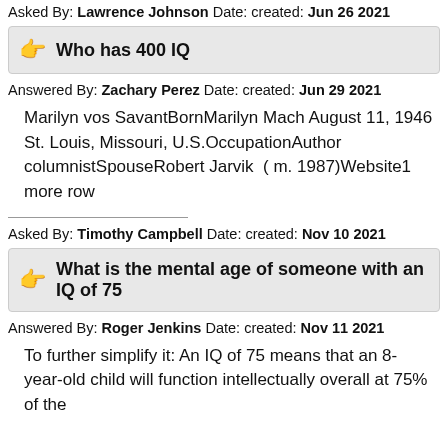Asked By: Lawrence Johnson Date: created: Jun 26 2021
Who has 400 IQ
Answered By: Zachary Perez Date: created: Jun 29 2021
Marilyn vos SavantBornMarilyn Mach August 11, 1946 St. Louis, Missouri, U.S.OccupationAuthor columnistSpouseRobert Jarvik  ( m. 1987)Website1 more row
Asked By: Timothy Campbell Date: created: Nov 10 2021
What is the mental age of someone with an IQ of 75
Answered By: Roger Jenkins Date: created: Nov 11 2021
To further simplify it: An IQ of 75 means that an 8-year-old child will function intellectually overall at 75% of the